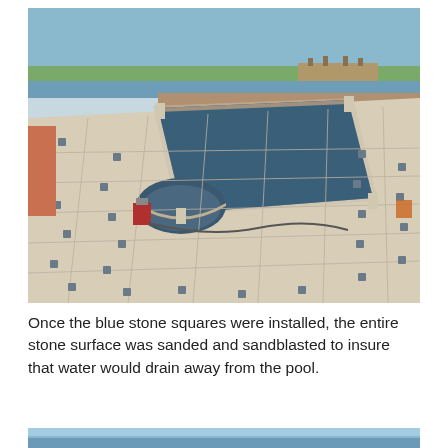[Figure (photo): Aerial/elevated view of a rectangular infinity pool with a semi-circular spa attachment, surrounded by large beige/cream stone tile decking with small dark square accent stones. Construction equipment visible near the spa. A waterway/bay and dock visible in the background.]
Once the blue stone squares were installed, the entire stone surface was sanded and sandblasted to insure that water would drain away from the pool.
[Figure (photo): Partial view of another photo at the bottom of the page, showing sky and water.]